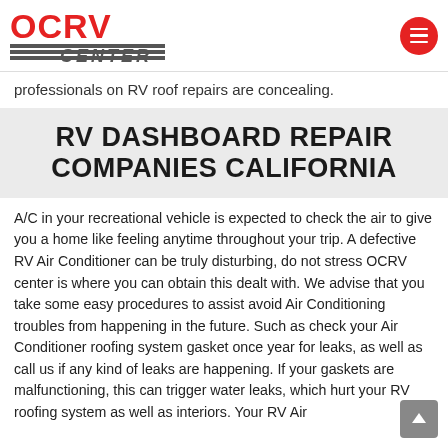OCRV CENTER logo and hamburger menu
professionals on RV roof repairs are concealing.
RV DASHBOARD REPAIR COMPANIES CALIFORNIA
A/C in your recreational vehicle is expected to check the air to give you a home like feeling anytime throughout your trip. A defective RV Air Conditioner can be truly disturbing, do not stress OCRV center is where you can obtain this dealt with. We advise that you take some easy procedures to assist avoid Air Conditioning troubles from happening in the future. Such as check your Air Conditioner roofing system gasket once year for leaks, as well as call us if any kind of leaks are happening. If your gaskets are malfunctioning, this can trigger water leaks, which hurt your RV roofing system as well as interiors. Your RV Air